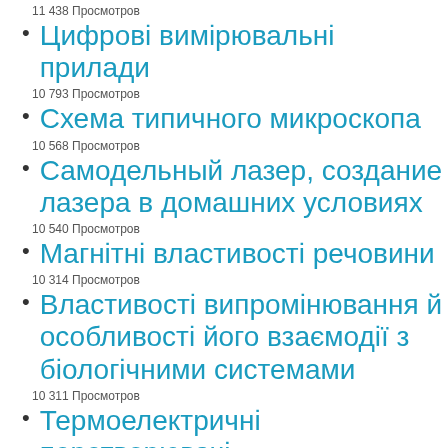11 438 Просмотров
Цифрові вимірювальні прилади
10 793 Просмотров
Схема типичного микроскопа
10 568 Просмотров
Самодельный лазер, создание лазера в домашних условиях
10 540 Просмотров
Магнітні властивості речовини
10 314 Просмотров
Властивості випромінювання й особливості його взаємодії з біологічними системами
10 311 Просмотров
Термоелектричні перетворювачі